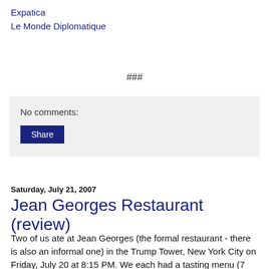Expatica
Le Monde Diplomatique
###
No comments:
Share
Saturday, July 21, 2007
Jean Georges Restaurant (review)
Two of us ate at Jean Georges (the formal restaurant - there is also an informal one) in the Trump Tower, New York City on Friday, July 20 at 8:15 PM. We each had a tasting menu (7 courses, fixed price $150) and we each had the accompanying wine tasting menu (a very small glass of wine with each course, fixed price $120 and $100 for the "Summer" and "Classic" tasting menus, respectively). The total bill was $650 (all prices in US dollars). The amount of food was good - all the courses were very small, so we didn't